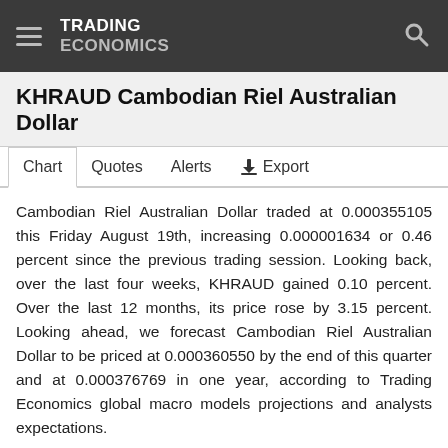TRADING ECONOMICS
KHRAUD Cambodian Riel Australian Dollar
Chart  Quotes  Alerts  Export
Cambodian Riel Australian Dollar traded at 0.000355105 this Friday August 19th, increasing 0.000001634 or 0.46 percent since the previous trading session. Looking back, over the last four weeks, KHRAUD gained 0.10 percent. Over the last 12 months, its price rose by 3.15 percent. Looking ahead, we forecast Cambodian Riel Australian Dollar to be priced at 0.000360550 by the end of this quarter and at 0.000376769 in one year, according to Trading Economics global macro models projections and analysts expectations.
| Exchange Rate | Daily Change | Yearly |
| --- | --- | --- |
| 0.000355105 | ▲ 0.46% | ▲ 3.15% |